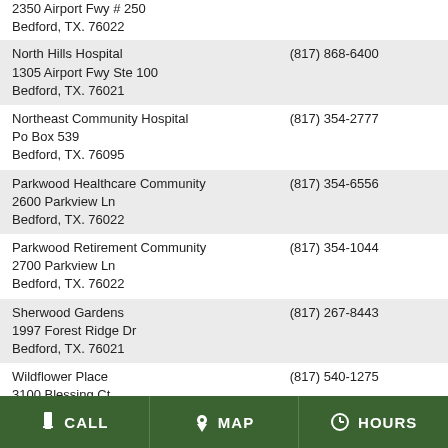2350 Airport Fwy # 250
Bedford, TX. 76022
| Name/Address | Phone |
| --- | --- |
| North Hills Hospital
1305 Airport Fwy Ste 100
Bedford, TX. 76021 | (817) 868-6400 |
| Northeast Community Hospital
Po Box 539
Bedford, TX. 76095 | (817) 354-2777 |
| Parkwood Healthcare Community
2600 Parkview Ln
Bedford, TX. 76022 | (817) 354-6556 |
| Parkwood Retirement Community
2700 Parkview Ln
Bedford, TX. 76022 | (817) 354-1044 |
| Sherwood Gardens
1997 Forest Ridge Dr
Bedford, TX. 76021 | (817) 267-8443 |
| Wildflower Place
3100 Blessing Ct
Bedford, TX. 76021 | (817) 540-1275 |
CALL  MAP  HOURS